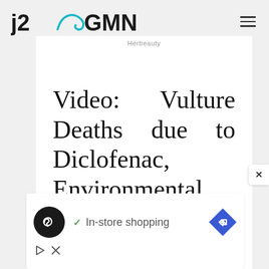[Figure (logo): j2CGMN logo with teal wave/hook graphic between j2 and GMN, hamburger menu icon on right]
Herbeauty
Video: Vulture Deaths due to Diclofenac, Environmental Scavenging, Vulture Safe Zones for UPSCPSC Exams
[Figure (infographic): Advertisement banner with black circle icon showing infinity-like symbol, checkmark with 'In-store shopping' text, blue diamond navigation icon, and ad control buttons (play/close)]